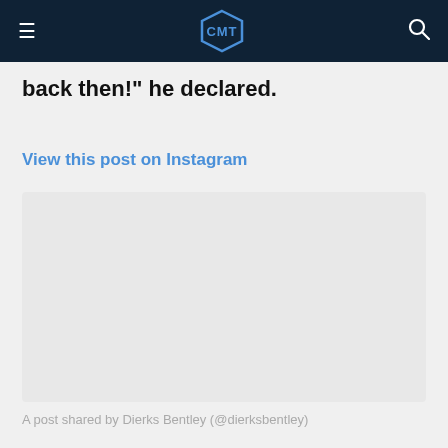CMT
back then!" he declared.
View this post on Instagram
[Figure (other): Embedded Instagram post placeholder area]
A post shared by Dierks Bentley (@dierksbentley)
He continued to mention that his father was the one